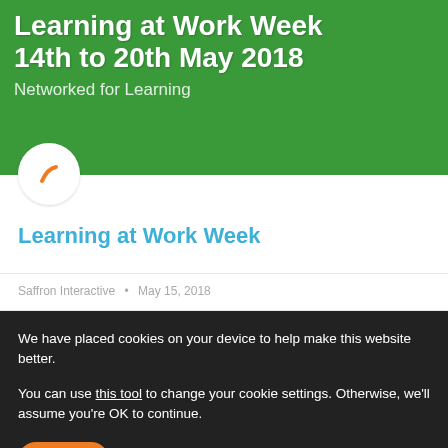Learning at Work Week 14th to 20th May 2018
Networked for Learning
[Figure (illustration): Circular white icon with an orange pen/pencil stroke symbol]
Learning at Work Week
Saffron Interactive • May 15, 2018
We have placed cookies on your device to help make this website better.

You can use this tool to change your cookie settings. Otherwise, we'll assume you're OK to continue.
Accept